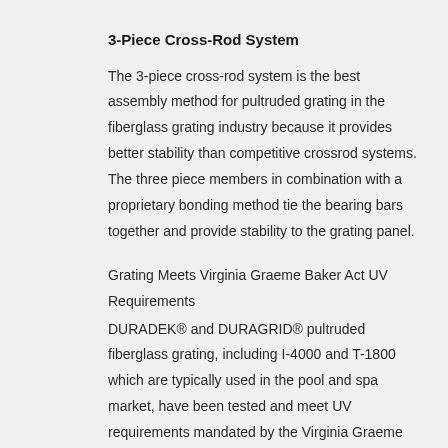3-Piece Cross-Rod System
The 3-piece cross-rod system is the best assembly method for pultruded grating in the fiberglass grating industry because it provides better stability than competitive crossrod systems. The three piece members in combination with a proprietary bonding method tie the bearing bars together and provide stability to the grating panel.
Grating Meets Virginia Graeme Baker Act UV Requirements
DURADEK® and DURAGRID® pultruded fiberglass grating, including I-4000 and T-1800 which are typically used in the pool and spa market, have been tested and meet UV requirements mandated by the Virginia Graeme Baker Act (VGBA). The